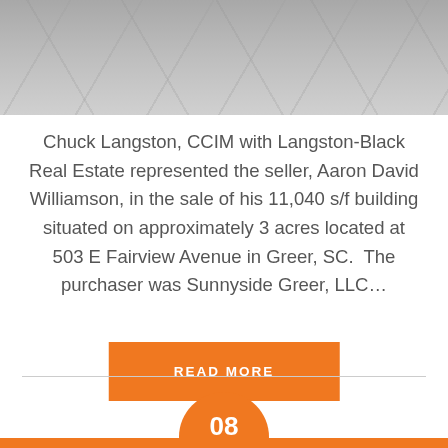[Figure (photo): Aerial or ground-level photo of a paved or stone surface, gray tones, showing cracks or flagstone pattern]
Chuck Langston, CCIM with Langston-Black Real Estate represented the seller, Aaron David Williamson, in the sale of his 11,040 s/f building situated on approximately 3 acres located at 503 E Fairview Avenue in Greer, SC.  The purchaser was Sunnyside Greer, LLC...
READ MORE
08
APR